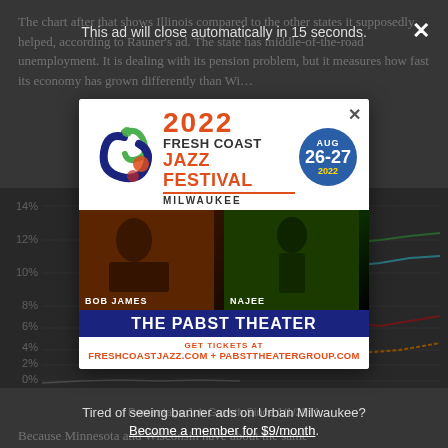The chart after that shows Illinois compared to the other states it supposedly helped, according to Rauner's ad. The state has middle-of-the-road unemployment. It is dealing with its pension problem, but it measures how fast its economy has grown differently than Wi…
[Figure (line-chart): Partially visible line chart showing percentage job growth since 1/1/2011, with y-axis from 0% to 14%, obscured by modal overlay]
Percentage Job Growth Since 1/1/2011
Because Minnesota and Wisconsin have about the same…
[Figure (advertisement): 2022 Fresh Coast Jazz Festival advertisement at The Pabst Theater, Milwaukee. Featuring Bob James and Najee. Aug 26-27 2022. Get tickets at freshcoastjazz.com + pabsttheatergroup.com]
This ad will close automatically in 15 seconds.
Tired of seeing banner ads on Urban Milwaukee? Become a member for $9/month.